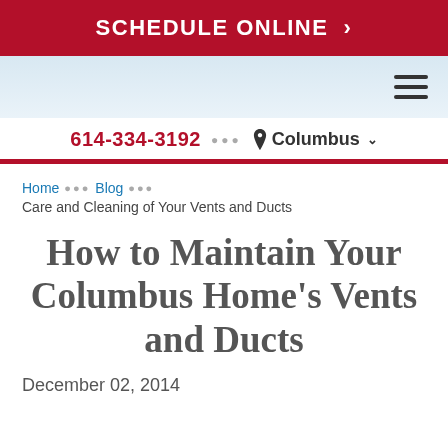SCHEDULE ONLINE >
614-334-3192 ... Columbus
Home ... Blog ... Care and Cleaning of Your Vents and Ducts
How to Maintain Your Columbus Home's Vents and Ducts
December 02, 2014